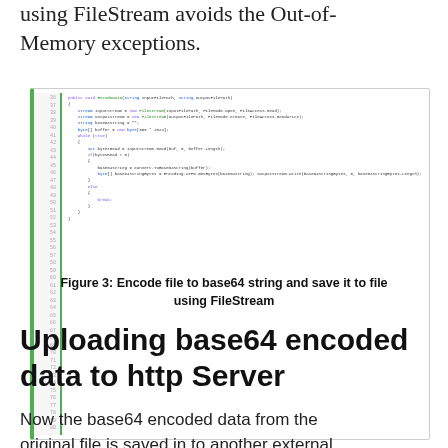using FileStream avoids the Out-of-Memory exceptions.
[Figure (screenshot): Code screenshot showing a C# method EncodeData(string inputFilePath, string outputFilePath) that reads a file using FileStream, encodes it to base64 string using Convert.ToBase64String, and writes the result to an output file using FileStream. Shows line numbers on the left with a green vertical bar.]
Figure 3: Encode file to base64 string and save it to file using FileStream
Uploading base64 encoded data to http Server
Now the base64 encoded data from the original file is saved in to another external